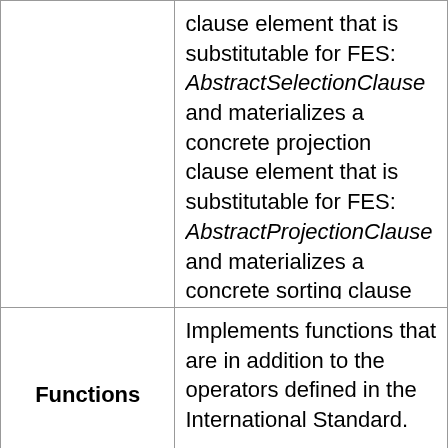|  | clause element that is substitutable for FES: AbstractSelectionClause and materializes a concrete projection clause element that is substitutable for FES: AbstractProjectionClause and materializes a concrete sorting clause element that is substitutable for FES: AbstractSortingClause. |
| Functions | Implements functions that are in addition to the operators defined in the International Standard. |